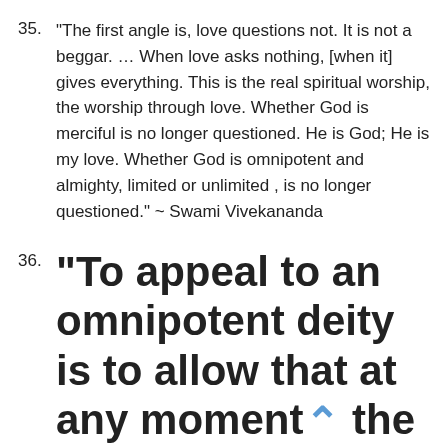35. “The first angle is, love questions not. It is not a beggar. … When love asks nothing, [when it] gives everything. This is the real spiritual worship, the worship through love. Whether God is merciful is no longer questioned. He is God; He is my love. Whether God is omnipotent and almighty, limited or unlimited , is no longer questioned.” ~ Swami Vivekananda
36. “To appeal to an omnipotent deity is to allow that at any moment the regularities of nature